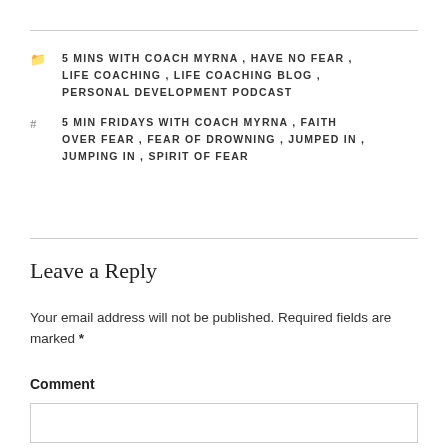5 MINS WITH COACH MYRNA, HAVE NO FEAR, LIFE COACHING, LIFE COACHING BLOG, PERSONAL DEVELOPMENT PODCAST
5 MIN FRIDAYS WITH COACH MYRNA, FAITH OVER FEAR, FEAR OF DROWNING, JUMPED IN, JUMPING IN, SPIRIT OF FEAR
Leave a Reply
Your email address will not be published. Required fields are marked *
Comment